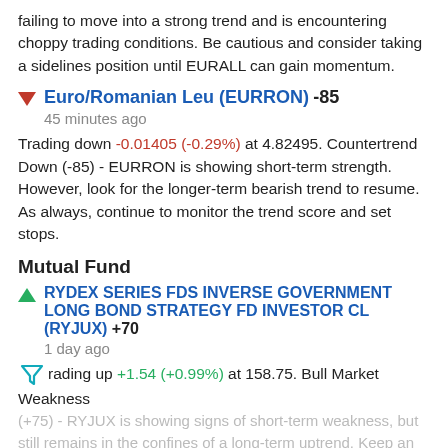failing to move into a strong trend and is encountering choppy trading conditions. Be cautious and consider taking a sidelines position until EURALL can gain momentum.
Euro/Romanian Leu (EURRON) -85
45 minutes ago
Trading down -0.01405 (-0.29%) at 4.82495. Countertrend Down (-85) - EURRON is showing short-term strength. However, look for the longer-term bearish trend to resume. As always, continue to monitor the trend score and set stops.
Mutual Fund
RYDEX SERIES FDS INVERSE GOVERNMENT LONG BOND STRATEGY FD INVESTOR CL (RYJUX) +70
1 day ago
Trading up +1.54 (+0.99%) at 158.75. Bull Market Weakness (+75) - RYJUX is showing signs of short-term weakness, but still remains in the confines of a long-term uptrend. Keep an eye on RYJUX as it may be in the beginning stages of a reversal.
JANUS HENDERSON VENTURE FUND – T SHARES